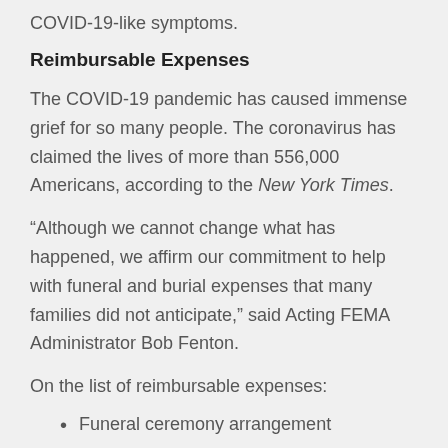COVID-19-like symptoms.
Reimbursable Expenses
The COVID-19 pandemic has caused immense grief for so many people. The coronavirus has claimed the lives of more than 556,000 Americans, according to the New York Times.
“Although we cannot change what has happened, we affirm our commitment to help with funeral and burial expenses that many families did not anticipate,” said Acting FEMA Administrator Bob Fenton.
On the list of reimbursable expenses:
Funeral ceremony arrangement
Transfer of remains